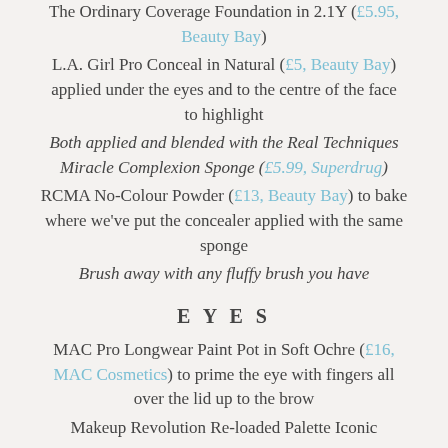The Ordinary Coverage Foundation in 2.1Y (£5.95, Beauty Bay)
L.A. Girl Pro Conceal in Natural (£5, Beauty Bay) applied under the eyes and to the centre of the face to highlight
Both applied and blended with the Real Techniques Miracle Complexion Sponge (£5.99, Superdrug)
RCMA No-Colour Powder (£13, Beauty Bay) to bake where we've put the concealer applied with the same sponge
Brush away with any fluffy brush you have
EYES
MAC Pro Longwear Paint Pot in Soft Ochre (£16, MAC Cosmetics) to prime the eye with fingers all over the lid up to the brow
Makeup Revolution Re-loaded Palette Iconic